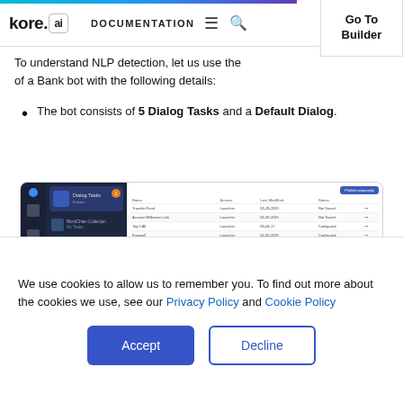kore.ai DOCUMENTATION | Go To Builder
To understand NLP detection, let us use the example of a Bank bot with the following details:
The bot consists of 5 Dialog Tasks and a Default Dialog.
[Figure (screenshot): Screenshot of a Kore.ai bot builder interface showing a task list panel on the left (Dialog Tasks highlighted) and a table view on the right with multiple dialog task entries.]
We use cookies to allow us to remember you. To find out more about the cookies we use, see our Privacy Policy and Cookie Policy
Accept / Decline buttons